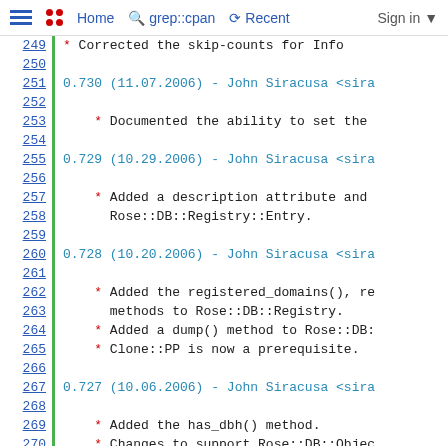Home  grep::cpan  Recent  Sign in
249  * Corrected the skip-counts for Info
250
251  0.730 (11.07.2006) - John Siracusa <sira
252
253      * Documented the ability to set the
254
255  0.729 (10.29.2006) - John Siracusa <sira
256
257      * Added a description attribute and
258        Rose::DB::Registry::Entry.
259
260  0.728 (10.20.2006) - John Siracusa <sira
261
262      * Added the registered_domains(), re
263        methods to Rose::DB::Registry.
264      * Added a dump() method to Rose::DB:
265      * Clone::PP is now a prerequisite.
266
267  0.727 (10.06.2006) - John Siracusa <sira
268
269      * Added the has_dbh() method.
270      * Changes to support Rose::DB::Objec
271      * Fixed some Informix date/time pars
272      * The test suite now refuses to run
273        DBD::SQLite version 1.13 is instal
274